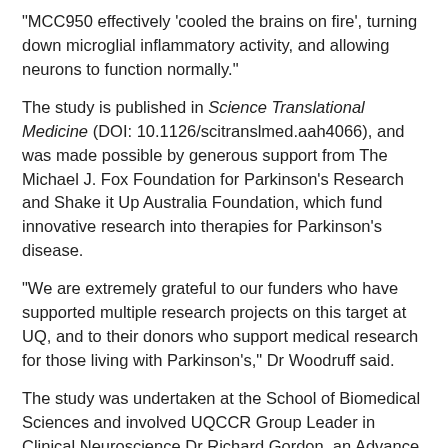"MCC950 effectively 'cooled the brains on fire', turning down microglial inflammatory activity, and allowing neurons to function normally."
The study is published in Science Translational Medicine (DOI: 10.1126/scitranslmed.aah4066), and was made possible by generous support from The Michael J. Fox Foundation for Parkinson's Research and Shake it Up Australia Foundation, which fund innovative research into therapies for Parkinson's disease.
"We are extremely grateful to our funders who have supported multiple research projects on this target at UQ, and to their donors who support medical research for those living with Parkinson's," Dr Woodruff said.
The study was undertaken at the School of Biomedical Sciences and involved UQCCR Group Leader in Clinical Neuroscience Dr Richard Gordon, an Advance Queensland Research Fellow, and PhD student Eduardo Albornoz.